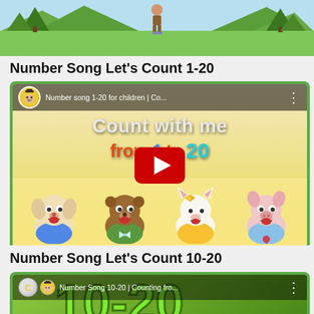[Figure (screenshot): Partial view of a YouTube video thumbnail showing a scenic outdoor background with green hills and a cartoon figure standing in the center]
Number Song Let's Count 1-20
[Figure (screenshot): YouTube embedded video player showing 'Number song 1-20 for children | Co...' with 'Count with me from 1 to 20' text and cartoon animal characters (dog, bear, cat, pig) from Singing Walrus. Red play button in center.]
Number Song Let's Count 10-20
[Figure (screenshot): Partial YouTube video thumbnail showing 'Number Song 10-20 | Counting fro...' with green background and large number graphics, partially cut off at bottom of page]